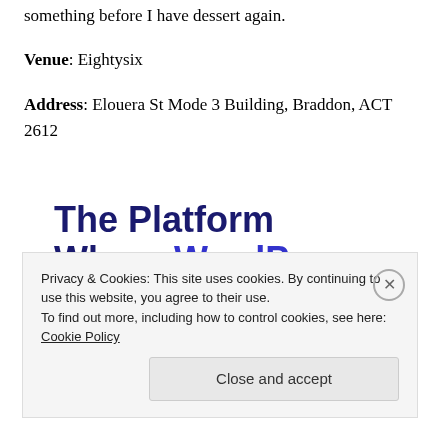something before I have dessert again.
Venue: Eightysix
Address: Elouera St Mode 3 Building, Braddon, ACT 2612
[Figure (infographic): Advertisement banner reading 'The Platform Where WordPress Works Best' with a blue pricing button below]
Privacy & Cookies: This site uses cookies. By continuing to use this website, you agree to their use. To find out more, including how to control cookies, see here: Cookie Policy
Close and accept